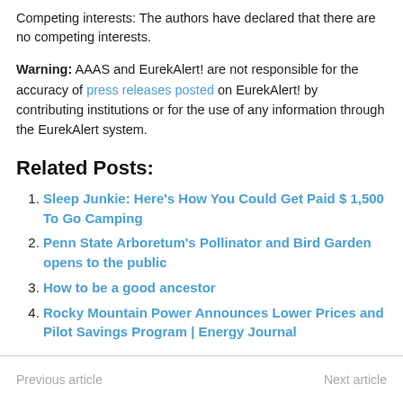Competing interests: The authors have declared that there are no competing interests.
Warning: AAAS and EurekAlert! are not responsible for the accuracy of press releases posted on EurekAlert! by contributing institutions or for the use of any information through the EurekAlert system.
Related Posts:
Sleep Junkie: Here's How You Could Get Paid $ 1,500 To Go Camping
Penn State Arboretum's Pollinator and Bird Garden opens to the public
How to be a good ancestor
Rocky Mountain Power Announces Lower Prices and Pilot Savings Program | Energy Journal
Previous article   Next article